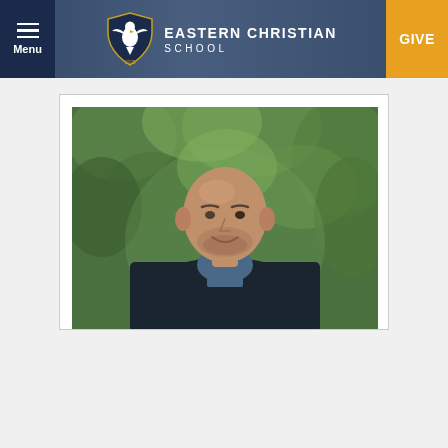Menu | EASTERN CHRISTIAN SCHOOL | GIVE
[Figure (photo): Portrait photo of a bald man with a beard wearing a dark blazer over a blue shirt, smiling outdoors with green foliage in the background. Eastern Christian School staff profile photo.]